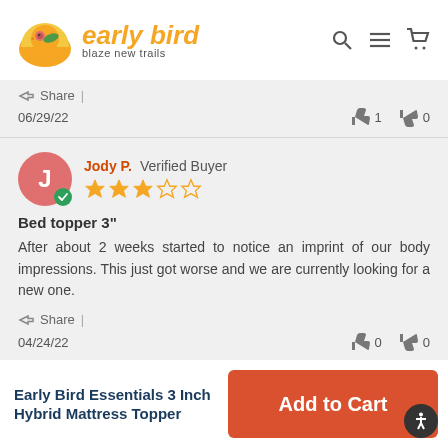[Figure (logo): Early Bird logo with bird icon and text 'early bird / blaze new trails', plus search, menu, and cart icons in the header]
Share |
06/29/22   👍 1   👎 0
Jody P.  Verified Buyer  ★★★☆☆
Bed topper 3"
After about 2 weeks started to notice an imprint of our body impressions. This just got worse and we are currently looking for a new one.
Share |
04/24/22   👍 0   👎 0
Early Bird Essentials 3 Inch Hybrid Mattress Topper
Add to Cart